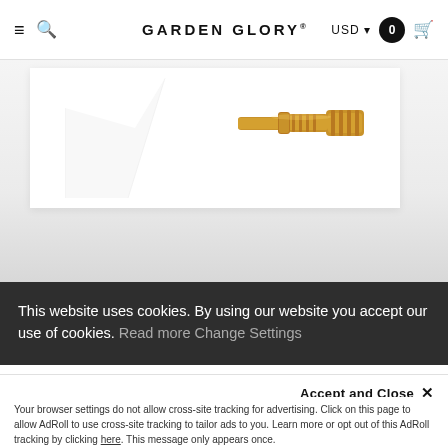GARDEN GLORY® USD 0
[Figure (photo): Product photo showing a white box with a brass hose connector/coupling on a light grey background]
This website uses cookies. By using our website you accept our use of cookies. Read more Change Settings
Accept and Close ✕
Your browser settings do not allow cross-site tracking for advertising. Click on this page to allow AdRoll to use cross-site tracking to tailor ads to you. Learn more or opt out of this AdRoll tracking by clicking here. This message only appears once.